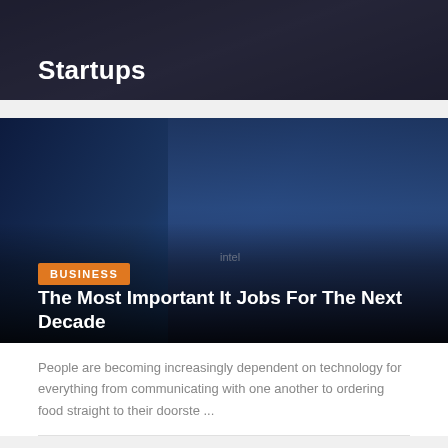[Figure (photo): Dark background image with white bold text 'Startups' visible at bottom left, partial header image]
[Figure (photo): Woman working at a laptop in a dark blue office/tech environment, with logos Intel and other brands visible in background]
BUSINESS
The Most Important It Jobs For The Next Decade
People are becoming increasingly dependent on technology for everything from communicating with one another to ordering food straight to their doorste ...
Anwar Hossain
3 weeks ago
[Figure (photo): Close-up of a Bitcoin gold coin on a circuit board background, teal and gold tones]